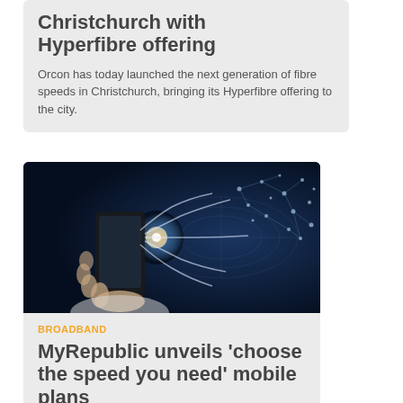Christchurch with Hyperfibre offering
Orcon has today launched the next generation of fibre speeds in Christchurch, bringing its Hyperfibre offering to the city.
[Figure (photo): Person holding a smartphone with glowing digital network connections emanating from it against a dark blue background with world map.]
BROADBAND
MyRepublic unveils 'choose the speed you need' mobile plans